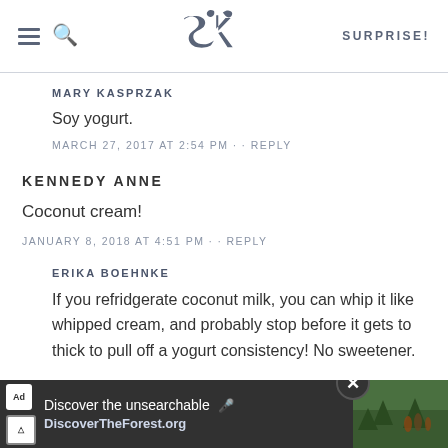SK | SURPRISE!
MARY KASPRZAK
Soy yogurt.
MARCH 27, 2017 AT 2:54 PM · · REPLY
KENNEDY ANNE
Coconut cream!
JANUARY 8, 2018 AT 4:51 PM · · REPLY
ERIKA BOEHNKE
If you refridgerate coconut milk, you can whip it like whipped cream, and probably stop before it gets to thick to pull off a yogurt consistency! No sweetener.
[Figure (screenshot): Advertisement banner at bottom: 'Discover the unsearchable' with DiscoverTheForest.org, showing people in forest]